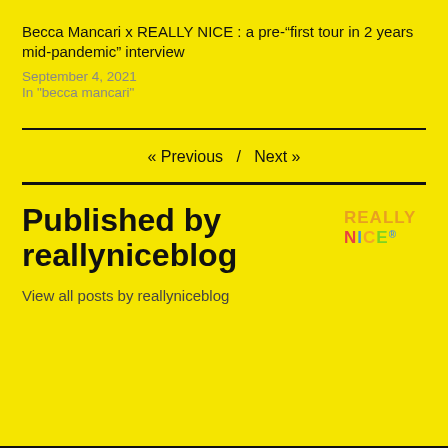Becca Mancari x REALLY NICE : a pre-“first tour in 2 years mid-pandemic” interview
September 4, 2021
In "becca mancari"
« Previous  /  Next »
Published by reallyniceblog
View all posts by reallyniceblog